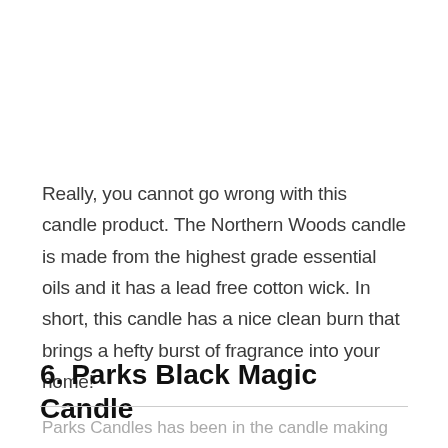Really, you cannot go wrong with this candle product. The Northern Woods candle is made from the highest grade essential oils and it has a lead free cotton wick. In short, this candle has a nice clean burn that brings a hefty burst of fragrance into your home!
6. Parks Black Magic Candle
Parks Candles has been in the candle making business for over twenty years. This company is